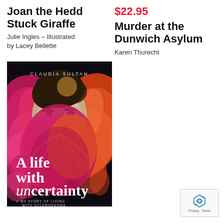Joan the Hedd Stuck Giraffe
Julie Ingles – Illustrated by Lacey Bellette
$22.95
Murder at the Dunwich Asylum
Karen Thurecht
[Figure (photo): Book cover of 'A life with uncertainty: My Story of Living with Scleroderma' by Claudia Sultan. Dark background with a large pink and orange butterfly obscuring the lower face of a woman. Author name 'CLAUDIA SULTAN' at the top in spaced letters. Large white serif title text reads 'A life with uncertainty' with 'un' in italic. Subtitle reads 'MY STORY OF LIVING WITH SCLERODERMA' with a small chevron arrow.]